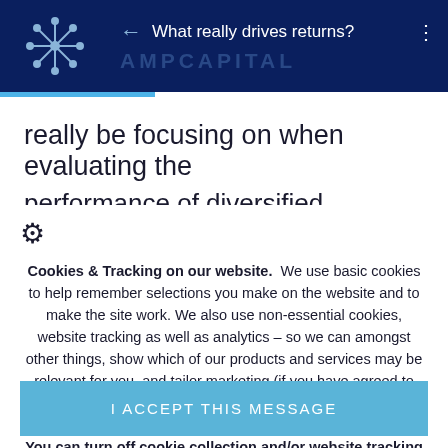What really drives returns? | AMP Capital
really be focusing on when evaluating the performance of diversified portfolios
Cookies & Tracking on our website.  We use basic cookies to help remember selections you make on the website and to make the site work. We also use non-essential cookies, website tracking as well as analytics – so we can amongst other things, show which of our products and services may be relevant for you, and tailor marketing (if you have agreed to this). More details about our use of cookies and website analytics can be found here. You can turn off cookie collection and/or website tracking by updating your cookies & tracking preferences in your browser settings.
I ACCEPT THIS MESSAGE